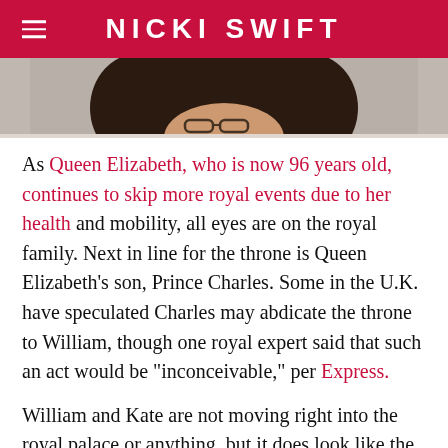NICKI SWIFT
[Figure (photo): Partial photo of a person with dark hair against a light background, cropped to show top of head]
As Queen Elizabeth, who is now 96 years old, continues to skip more royal events due to her health and mobility, all eyes are on the royal family. Next in line for the throne is Queen Elizabeth's son, Prince Charles. Some in the U.K. have speculated Charles may abdicate the throne to William, though one royal expert said that such an act would be "inconceivable," per Express.
William and Kate are not moving right into the royal palace or anything, but it does look like the family may be relocating to an area that's closer to the queen. But